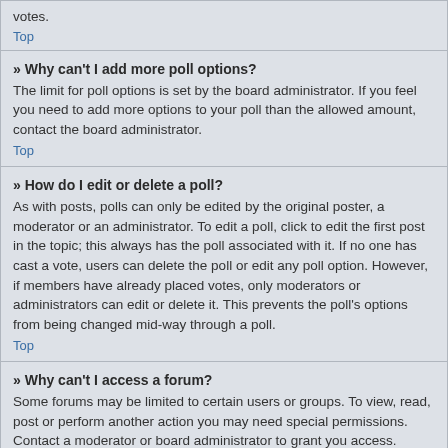votes.
Top
» Why can't I add more poll options?
The limit for poll options is set by the board administrator. If you feel you need to add more options to your poll than the allowed amount, contact the board administrator.
Top
» How do I edit or delete a poll?
As with posts, polls can only be edited by the original poster, a moderator or an administrator. To edit a poll, click to edit the first post in the topic; this always has the poll associated with it. If no one has cast a vote, users can delete the poll or edit any poll option. However, if members have already placed votes, only moderators or administrators can edit or delete it. This prevents the poll's options from being changed mid-way through a poll.
Top
» Why can't I access a forum?
Some forums may be limited to certain users or groups. To view, read, post or perform another action you may need special permissions. Contact a moderator or board administrator to grant you access.
Top